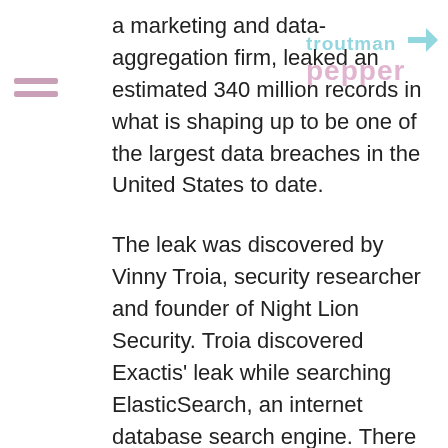[Figure (logo): Troutman Pepper law firm logo watermark in teal/pink colors, top right corner]
a marketing and data-aggregation firm, leaked an estimated 340 million records in what is shaping up to be one of the largest data breaches in the United States to date.
The leak was discovered by Vinny Troia, security researcher and founder of Night Lion Security. Troia discovered Exactis' leak while searching ElasticSearch, an internet database search engine. There he found Exactis' database was accessible without any firewall protection. No information was provided concerning whether this leak has been accessed by any other individuals.